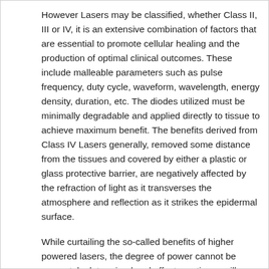However Lasers may be classified, whether Class II, III or IV, it is an extensive combination of factors that are essential to promote cellular healing and the production of optimal clinical outcomes. These include malleable parameters such as pulse frequency, duty cycle, waveform, wavelength, energy density, duration, etc. The diodes utilized must be minimally degradable and applied directly to tissue to achieve maximum benefit. The benefits derived from Class IV Lasers generally, removed some distance from the tissues and covered by either a plastic or glass protective barrier, are negatively affected by the refraction of light as it transverses the atmosphere and reflection as it strikes the epidermal surface.
While curtailing the so-called benefits of higher powered lasers, the degree of power cannot be accurately determined and effects on tissue will